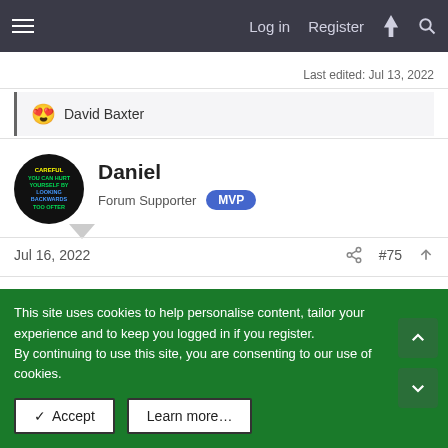Log in  Register
Last edited: Jul 13, 2022
😍 David Baxter
Daniel
Forum Supporter  MVP
Jul 16, 2022   #75
This site uses cookies to help personalise content, tailor your experience and to keep you logged in if you register.
By continuing to use this site, you are consenting to our use of cookies.
✓ Accept   Learn more...